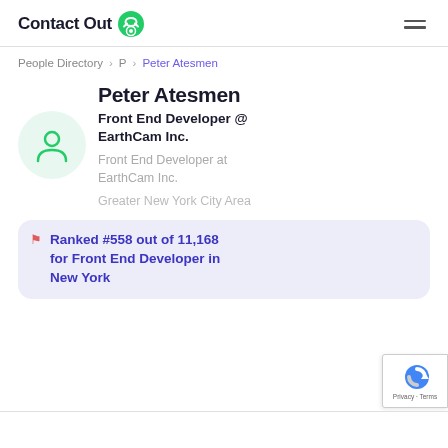ContactOut
People Directory > P > Peter Atesmen
Peter Atesmen
Front End Developer @ EarthCam Inc.
Front End Developer at EarthCam Inc.
Greater New York City Area
Ranked #558 out of 11,168 for Front End Developer in New York